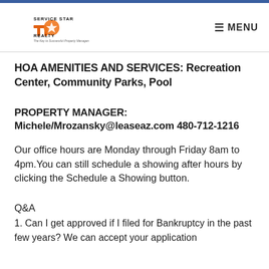Service Star Realty — The Key to Successful Property Management | MENU
HOA AMENITIES AND SERVICES: Recreation Center, Community Parks, Pool
PROPERTY MANAGER:
Michele/Mrozansky@leaseaz.com 480-712-1216
Our office hours are Monday through Friday 8am to 4pm.You can still schedule a showing after hours by clicking the Schedule a Showing button.
Q&A
1. Can I get approved if I filed for Bankruptcy in the past few years? We can accept your application